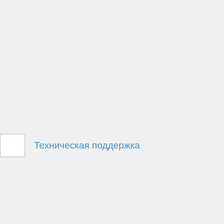[Figure (screenshot): Small white rectangle with gray border, representing a UI element or icon placeholder]
Техническая поддержка
рузка (Что это такое?)
[Figure (other): Dark gray rounded square button with white upward arrow icon for scrolling to top]